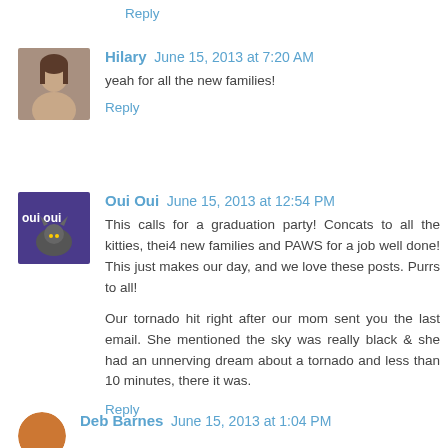Reply
Hilary June 15, 2013 at 7:20 AM
yeah for all the new families!
Reply
Oui Oui June 15, 2013 at 12:54 PM
This calls for a graduation party! Concats to all the kitties, thei4 new families and PAWS for a job well done! This just makes our day, and we love these posts. Purrs to all!
Our tornado hit right after our mom sent you the last email. She mentioned the sky was really black & she had an unnerving dream about a tornado and less than 10 minutes, there it was.
Reply
Deb Barnes June 15, 2013 at 1:04 PM